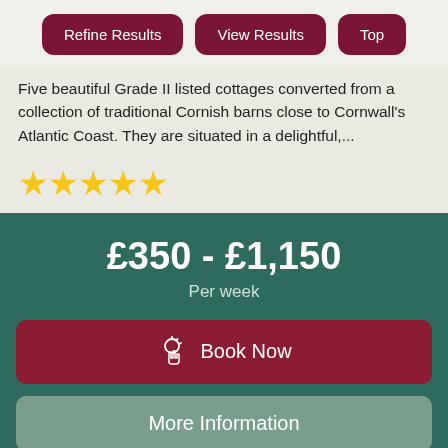Refine Results
View Results
Top
Five beautiful Grade II listed cottages converted from a collection of traditional Cornish barns close to Cornwall's Atlantic Coast. They are situated in a delightful,...
[Figure (other): Five yellow star rating icons]
£350 - £1,150
Per week
Book Now
More Information
Self-Catering
SPECIAL OF
[Figure (photo): Stone building with windows, partial view at bottom of page]